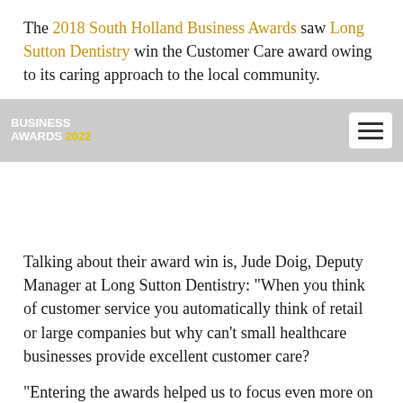The 2018 South Holland Business Awards saw Long Sutton Dentistry win the Customer Care award owing to its caring approach to the local community.
[Figure (other): Navigation bar overlay with 'BUSINESS AWARDS 2022' logo on the left and a hamburger menu icon on the right, on a semi-transparent grey background.]
Talking about their award win is, Jude Doig, Deputy Manager at Long Sutton Dentistry: “When you think of customer service you automatically think of retail or large companies but why can’t small healthcare businesses provide excellent customer care?
“Entering the awards helped us to focus even more on our policies and procedures to ensure every customer received the same high level of care and it was great recognition for the whole team who work really hard to grow and improve our business – without them we just wouldn’t be where we are today.”
The profile businesses receive on the back of these awards continues to be one of many reasons why local businesses apply.
Jude continued: “We’ve had lots of positive feedback from